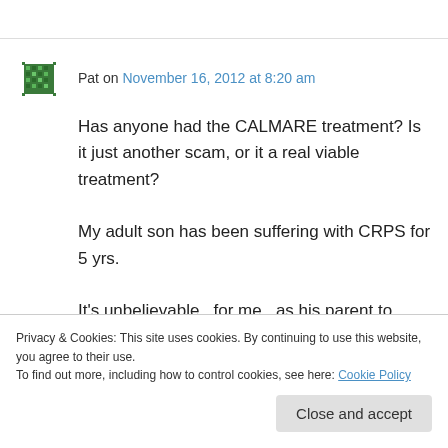Pat on November 16, 2012 at 8:20 am
Has anyone had the CALMARE treatment? Is it just another scam, or it a real viable treatment?
My adult son has been suffering with CRPS for 5 yrs.
It's unbelievable , for me , as his parent to watch him go through electric pain/ alodynia 24 hrs. a day
Privacy & Cookies: This site uses cookies. By continuing to use this website, you agree to their use.
To find out more, including how to control cookies, see here: Cookie Policy